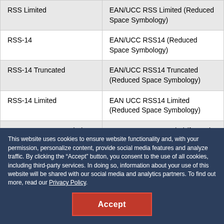| RSS Limited | EAN/UCC RSS Limited (Reduced Space Symbology) |
| RSS-14 | EAN/UCC RSS14 (Reduced Space Symbology) |
| RSS-14 Truncated | EAN/UCC RSS14 Truncated (Reduced Space Symbology) |
| RSS-14 Limited | EAN UCC RSS14 Limited (Reduced Space Symbology) |
| GS1 DataBar Expanded | GS1 DataBar Expanded (formerly RSS) |
| GS1 DataBar | GS1 DataBar (formerly |
This website uses cookies to ensure website functionality and, with your permission, personalize content, provide social media features and analyze traffic. By clicking the “Accept” button, you consent to the use of all cookies, including third-party services. In doing so, information about your use of this website will be shared with our social media and analytics partners. To find out more, read our Privacy Policy.